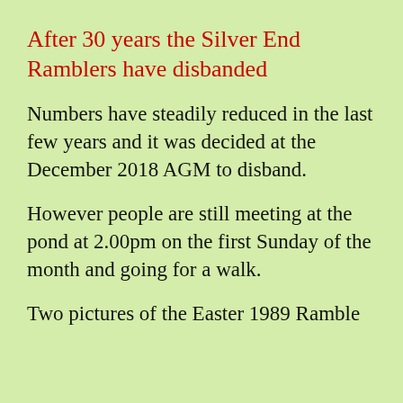After 30 years the Silver End Ramblers have disbanded
Numbers have steadily reduced in the last few years and it was decided at the December 2018 AGM to disband.
However people are still meeting at the pond at 2.00pm on the first Sunday of the month and going for a walk.
Two pictures of the Easter 1989 Ramble